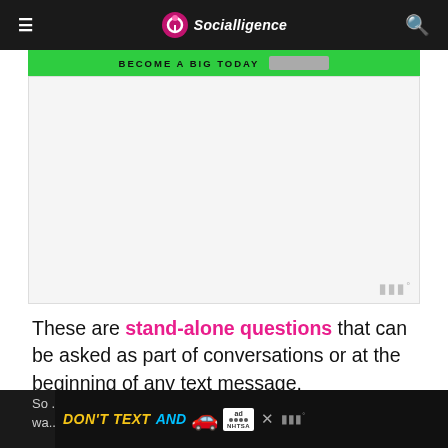Socialligence
[Figure (screenshot): Green banner with text BECOME A BIG TODAY and a white/grey advertisement area with audio icon]
These are stand-alone questions that can be asked as part of conversations or at the beginning of any text message.
You can direct the discussion in any direction after asking these questions.
Moreover, nobody is likely to be offended by any of these questions.
DON'T TEXT AND [car emoji] ad NHTSA